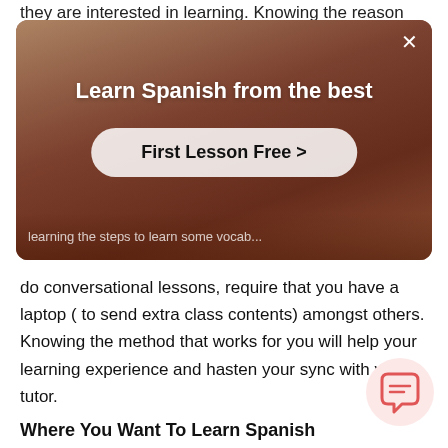they are interested in learning. Knowing the reason
[Figure (screenshot): Advertisement banner for Spanish learning platform. Shows a person with arms raised in a warm-toned indoor setting. Text reads 'Learn Spanish from the best' with a 'First Lesson Free >' button. Has a close (×) button in top right.]
do conversational lessons, require that you have a laptop ( to send extra class contents) amongst others. Knowing the method that works for you will help your learning experience and hasten your sync with your tutor.
Where You Want To Learn Spanish